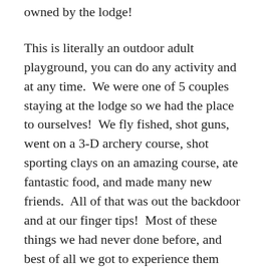owned by the lodge!
This is literally an outdoor adult playground, you can do any activity and at any time.  We were one of 5 couples staying at the lodge so we had the place to ourselves!  We fly fished, shot guns, went on a 3-D archery course, shot sporting clays on an amazing course, ate fantastic food, and made many new friends.  All of that was out the backdoor and at our finger tips!  Most of these things we had never done before, and best of all we got to experience them together.  After a decade of marriage its an amazing feeling to go through the joys of discovering something new together.  It reaffirmed how incredible a woman my best friend actually is, but it was quite surprising how good of a shot she